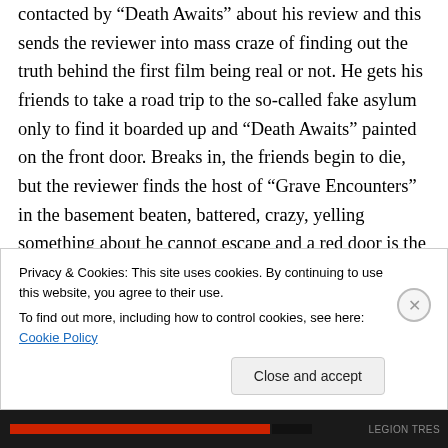contacted by “Death Awaits” about his review and this sends the reviewer into mass craze of finding out the truth behind the first film being real or not. He gets his friends to take a road trip to the so-called fake asylum only to find it boarded up and “Death Awaits” painted on the front door. Breaks in, the friends begin to die, but the reviewer finds the host of “Grave Encounters” in the basement beaten, battered, crazy, yelling something about he cannot escape and a red door is the exit. The sequel takes an interesting turn in plot but not enough for me to care as usual but will
Privacy & Cookies: This site uses cookies. By continuing to use this website, you agree to their use.
To find out more, including how to control cookies, see here: Cookie Policy
Close and accept